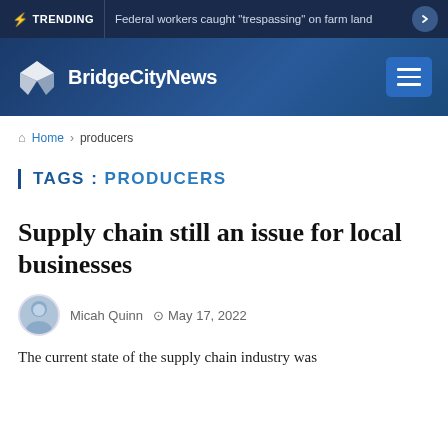⚡ TRENDING | Federal workers caught "trespassing" on farm land
[Figure (logo): BridgeCityNews logo with geometric diamond/arrow icon in white on dark blue background, with hamburger menu button]
Home > producers
TAGS : PRODUCERS
Supply chain still an issue for local businesses
Micah Quinn   May 17, 2022
The current state of the supply chain industry was